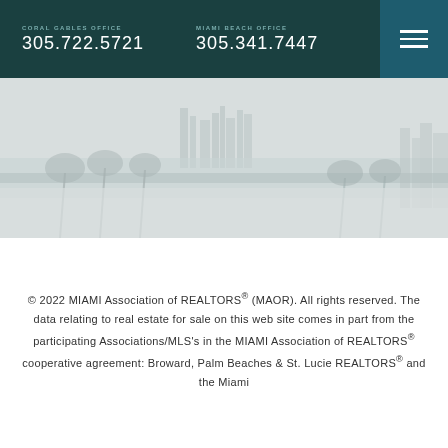CORAL GABLES OFFICE 305.722.5721 | MIAMI BEACH OFFICE 305.341.7447
[Figure (photo): Faded black and white panoramic photo of Miami waterfront with palm trees and city skyline in the background]
© 2022 MIAMI Association of REALTORS® (MAOR). All rights reserved. The data relating to real estate for sale on this web site comes in part from the participating Associations/MLS's in the MIAMI Association of REALTORS® cooperative agreement: Broward, Palm Beaches & St. Lucie REALTORS® and the Miami